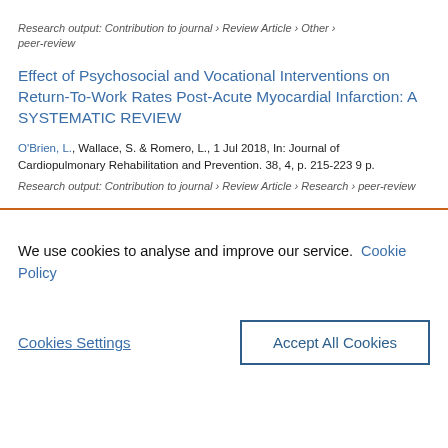Research output: Contribution to journal › Review Article › Other › peer-review
Effect of Psychosocial and Vocational Interventions on Return-To-Work Rates Post-Acute Myocardial Infarction: A SYSTEMATIC REVIEW
O'Brien, L., Wallace, S. & Romero, L., 1 Jul 2018, In: Journal of Cardiopulmonary Rehabilitation and Prevention. 38, 4, p. 215-223 9 p.
Research output: Contribution to journal › Review Article › Research › peer-review
We use cookies to analyse and improve our service. Cookie Policy
Cookies Settings
Accept All Cookies